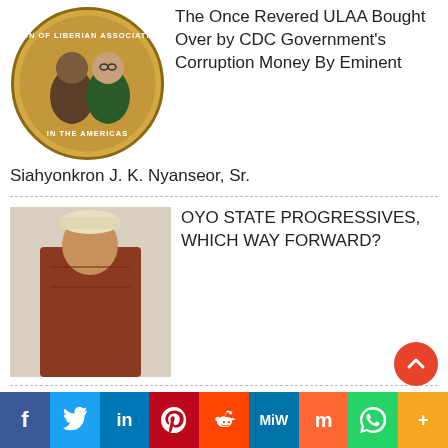[Figure (photo): ULAA circular logo with two men in suits]
The Once Revered ULAA Bought Over by CDC Government’s Corruption Money By Eminent Siahyonkron J. K. Nyanseor, Sr.
[Figure (photo): Man in traditional Yoruba attire with cap]
OYO STATE PROGRESSIVES, WHICH WAY FORWARD?
[Figure (photo): Man in traditional Nigerian dress]
IGBO, EGBA BETRAYALS AND HAUSA/FULANI INTRIGUES: BANEFUL PRECURSORS OF YORUBA AND SOUTHWEST DISUNITY, MARGINALISATION AND RETROGRESSION -Abiodun Egunjobi
[Figure (photo): Man in suit at formal event]
ULAA Puts All of Its Eggs in One Basket, a Visit From My…